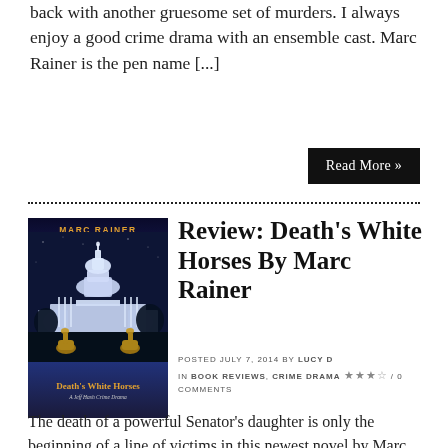back with another gruesome set of murders. I always enjoy a good crime drama with an ensemble cast. Marc Rainer is the pen name [...]
Read More »
[Figure (photo): Book cover of 'Death's White Horses' by Marc Rainer, showing the US Capitol building illuminated at night with two golden horse statues in the foreground]
Review: Death's White Horses By Marc Rainer
POSTED JULY 7, 2014 BY LUCY D IN BOOK REVIEWS, CRIME DRAMA ★★★☆ / 0 COMMENTS
The death of a powerful Senator's daughter is only the beginning of a line of victims in this newest novel by Marc Rainer. We soon find several dead prostitutes from overdoses of a new, stronger brand of heroin which is